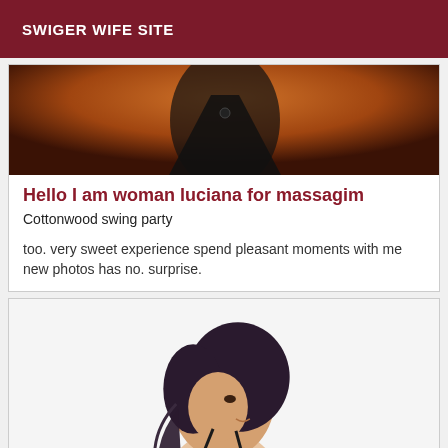SWIGER WIFE SITE
[Figure (photo): Close-up photo showing lower torso area with dark undergarment against warm-toned skin background]
Hello I am woman luciana for massagim
Cottonwood swing party
too. very sweet experience spend pleasant moments with me new photos has no. surprise.
[Figure (photo): Woman with dark wavy hair shown from behind/side, wearing dark strappy top, white background]